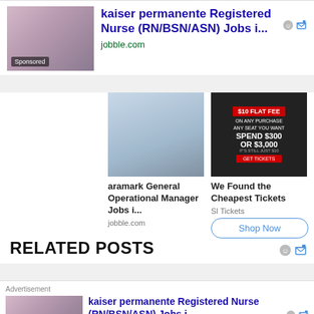[Figure (photo): Kaiser Permanente nurse ad with photo of smiling nurse, Sponsored badge, jobble.com source, and ad control icons]
kaiser permanente Registered Nurse (RN/BSN/ASN) Jobs i...
jobble.com
[Figure (photo): aramark General Operational Manager Jobs ad with desk/tablet image, jobble.com source]
[Figure (photo): We Found the Cheapest Tickets ad with $10 Flat Fee banner, SI Tickets source, Shop Now button]
aramark General Operational Manager Jobs i...
jobble.com
We Found the Cheapest Tickets
SI Tickets
Shop Now
RELATED POSTS
Advertisement
[Figure (photo): Kaiser Permanente nurse ad with photo of smiling nurse, Sponsored badge, jobble.com source]
kaiser permanente Registered Nurse (RN/BSN/ASN) Jobs i...
jobble.com